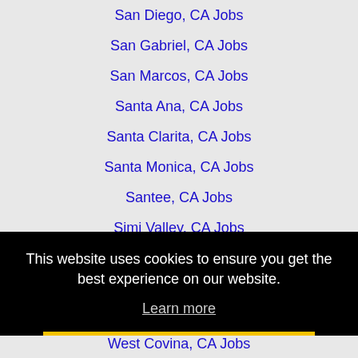San Diego, CA Jobs
San Gabriel, CA Jobs
San Marcos, CA Jobs
Santa Ana, CA Jobs
Santa Clarita, CA Jobs
Santa Monica, CA Jobs
Santee, CA Jobs
Simi Valley, CA Jobs
South Gate, CA Jobs
South Whittier, CA Jobs
This website uses cookies to ensure you get the best experience on our website.
Learn more
Got it!
West Covina, CA Jobs